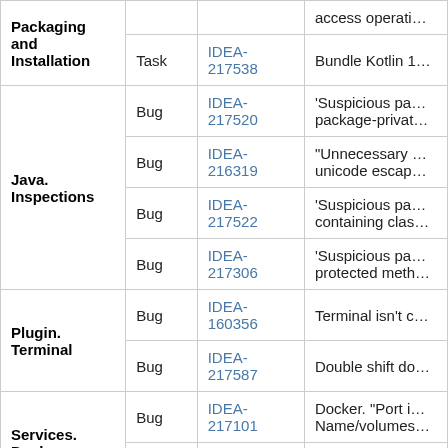| Category | Type | ID | Description |
| --- | --- | --- | --- |
| Packaging and Installation |  |  | access operat… |
| Packaging and Installation | Task | IDEA-217538 | Bundle Kotlin 1… |
| Java. Inspections | Bug | IDEA-217520 | 'Suspicious pa… package-privat… |
| Java. Inspections | Bug | IDEA-216319 | "Unnecessary … unicode escap… |
| Java. Inspections | Bug | IDEA-217522 | 'Suspicious pa… containing clas… |
| Java. Inspections | Bug | IDEA-217306 | 'Suspicious pa… protected meth… |
| Plugin. Terminal | Bug | IDEA-160356 | Terminal isn't c… |
| Plugin. Terminal | Bug | IDEA-217587 | Double shift do… |
| Services. Docker | Bug | IDEA-217101 | Docker. "Port i… Name/volumes… |
| Services. Docker | Bug | IDEA-217411 | Can't run wind… |